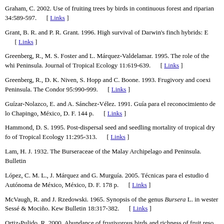Graham, C. 2002. Use of fruiting trees by birds in continuous forest and riparian 34:589-597. [ Links ]
Grant, B. R. and P. R. Grant. 1996. High survival of Darwin's finch hybrids: E [ Links ]
Greenberg, R., M. S. Foster and L. Márquez-Valdelamar. 1995. The role of the whi Peninsula. Journal of Tropical Ecology 11:619-639. [ Links ]
Greenberg, R., D. K. Niven, S. Hopp and C. Boone. 1993. Frugivory and coexi Peninsula. The Condor 95:990-999. [ Links ]
Guízar-Nolazco, E. and A. Sánchez-Vélez. 1991. Guía para el reconocimiento de lo Chapingo, México, D. F. 144 p. [ Links ]
Hammond, D. S. 1995. Post-dispersal seed and seedling mortality of tropical dry fo of Tropical Ecology 11:295-313. [ Links ]
Lam, H. J. 1932. The Burseraceae of the Malay Archipelago and Peninsula. Bulletin
López, C. M. L., J. Márquez and G. Murguía. 2005. Técnicas para el estudio d Autónoma de México, México, D. F. 178 p. [ Links ]
McVaugh, R. and J. Rzedowski. 1965. Synopsis of the genus Bursera L. in wester Sessé & Mociño. Kew Bulletin 18:317-382. [ Links ]
Ortiz-Pulido, R. 2000. Abundance of frugivorous birds and richness of fruit reso [ Links ]
Ortiz-Pulido, R., J. Laborde and S. Guevara. 2000. Frugivoría por aves en un pais